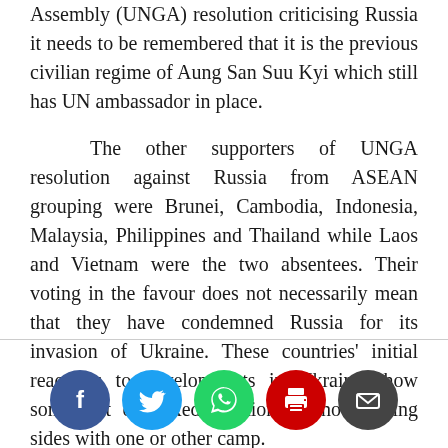Assembly (UNGA) resolution criticising Russia it needs to be remembered that it is the previous civilian regime of Aung San Suu Kyi which still has UN ambassador in place.

The other supporters of UNGA resolution against Russia from ASEAN grouping were Brunei, Cambodia, Indonesia, Malaysia, Philippines and Thailand while Laos and Vietnam were the two absentees. Their voting in the favour does not necessarily mean that they have condemned Russia for its invasion of Ukraine. These countries' initial reactions to developments in Ukraine show somewhat of mixed reactions without taking sides with one or other camp.
[Figure (infographic): Five social media share buttons: Facebook (blue circle with f), Twitter (light blue circle with bird), WhatsApp (green circle with phone), Print (red circle with printer), Email (dark grey circle with envelope)]